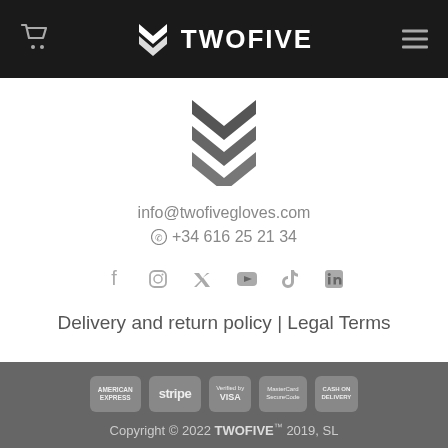TWOFIVE
[Figure (logo): TWOFIVE double chevron logo in dark gray]
info@twofivegloves.com
+34 616 25 21 34
[Figure (infographic): Social media icons: Facebook, Instagram, Twitter, YouTube, TikTok, LinkedIn]
Delivery and return policy | Legal Terms
Copyright © 2022 TWOFIVE™ 2019, SL